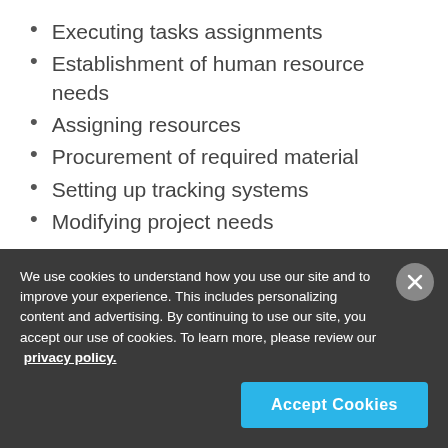Executing tasks assignments
Establishment of human resource needs
Assigning resources
Procurement of required material
Setting up tracking systems
Modifying project needs
The success of any project depends on the project execution stage. Teamwork, collaboration, and
We use cookies to understand how you use our site and to improve your experience. This includes personalizing content and advertising. By continuing to use our site, you accept our use of cookies. To learn more, please review our privacy policy.